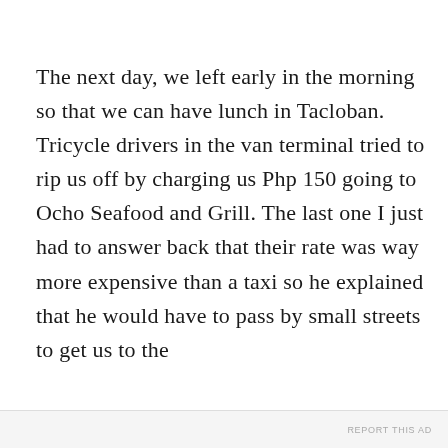The next day, we left early in the morning so that we can have lunch in Tacloban. Tricycle drivers in the van terminal tried to rip us off by charging us Php 150 going to Ocho Seafood and Grill. The last one I just had to answer back that their rate was way more expensive than a taxi so he explained that he would have to pass by small streets to get us to the
Privacy & Cookies: This site uses cookies. By continuing to use this website, you agree to their use.
To find out more, including how to control cookies, see here: Cookie Policy
Close and accept
REPORT THIS AD